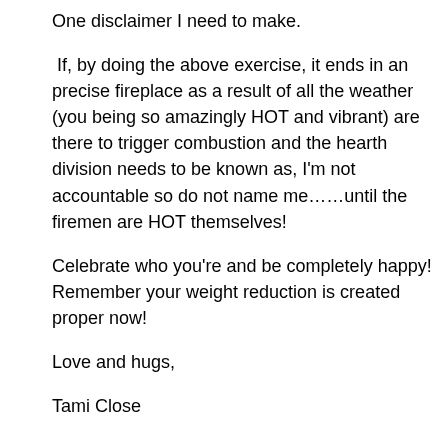One disclaimer I need to make.
If, by doing the above exercise, it ends in an precise fireplace as a result of all the weather (you being so amazingly HOT and vibrant) are there to trigger combustion and the hearth division needs to be known as, I'm not accountable so do not name me……until the firemen are HOT themselves!
Celebrate who you're and be completely happy! Remember your weight reduction is created proper now!
Love and hugs,
Tami Close